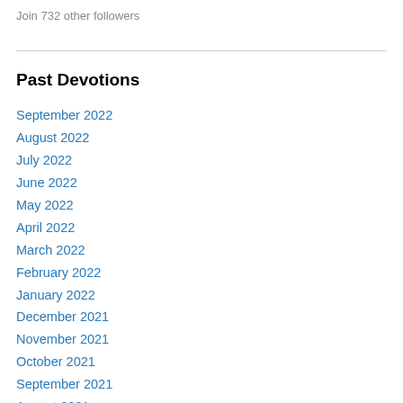Join 732 other followers
Past Devotions
September 2022
August 2022
July 2022
June 2022
May 2022
April 2022
March 2022
February 2022
January 2022
December 2021
November 2021
October 2021
September 2021
August 2021